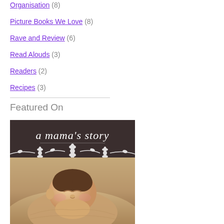Organisation (8)
Picture Books We Love (8)
Rave and Review (6)
Read Alouds (3)
Readers (2)
Recipes (3)
Featured On
[Figure (photo): A mama's story - blog feature image showing a sleeping newborn baby with a dark brown banner at the top reading 'a mama's story' in cursive white text with a white floral decoration border below the text.]